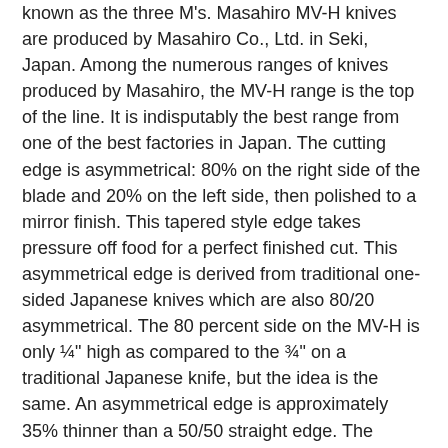known as the three M's. Masahiro MV-H knives are produced by Masahiro Co., Ltd. in Seki, Japan. Among the numerous ranges of knives produced by Masahiro, the MV-H range is the top of the line. It is indisputably the best range from one of the best factories in Japan. The cutting edge is asymmetrical: 80% on the right side of the blade and 20% on the left side, then polished to a mirror finish. This tapered style edge takes pressure off food for a perfect finished cut. This asymmetrical edge is derived from traditional one-sided Japanese knives which are also 80/20 asymmetrical. The 80 percent side on the MV-H is only ¼" high as compared to the ¾" on a traditional Japanese knife, but the idea is the same. An asymmetrical edge is approximately 35% thinner than a 50/50 straight edge. The Masahiro knives are amazingly light weight, yet perfectly balanced. The handle is a composition plastic handle which is remarkably durable and is much more practical and longer lasting than a laminated wood handle. The composite handle is resistant to bacteria, which keeps the knife very hygienic in daily use. The handles are a three rivet design and use a very wide full tang, almost as wide as the handles themselves. This design provides plenty of room for